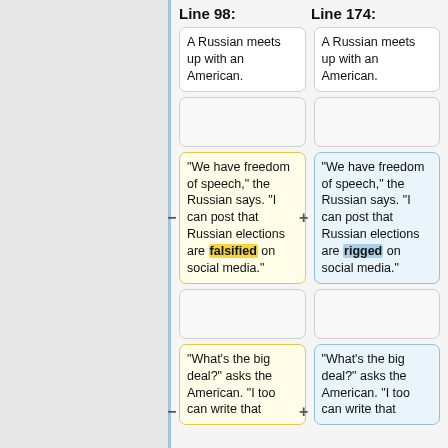Line 98:
Line 174:
A Russian meets up with an American.
A Russian meets up with an American.
"We have freedom of speech," the Russian says. "I can post that Russian elections are falsified on social media."
"We have freedom of speech," the Russian says. "I can post that Russian elections are rigged on social media."
"What's the big deal?" asks the American. "I too can write that
"What's the big deal?" asks the American. "I too can write that